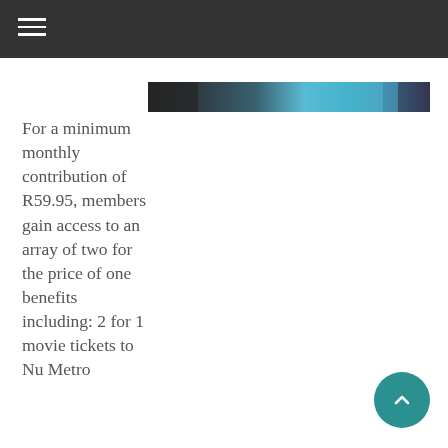[Figure (photo): A narrow horizontal strip photograph showing dark and blue tones, possibly people or objects in blue and dark colors.]
For a minimum monthly contribution of R59.95, members gain access to an array of two for the price of one benefits including: 2 for 1 movie tickets to Nu Metro